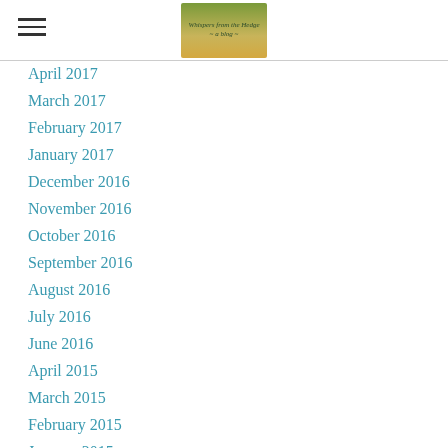Whispers from the Hedge blog navigation header
April 2017
March 2017
February 2017
January 2017
December 2016
November 2016
October 2016
September 2016
August 2016
July 2016
June 2016
April 2015
March 2015
February 2015
January 2015
December 2014
November 2014
October 2014